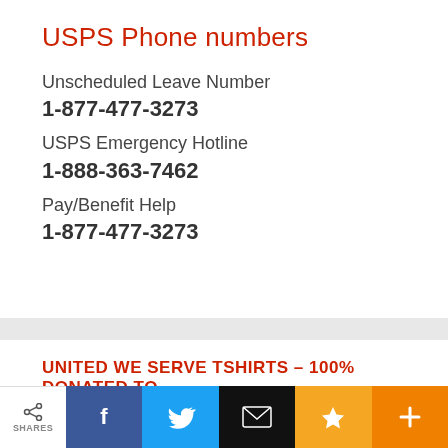USPS Phone numbers
Unscheduled Leave Number
1-877-477-3273
USPS Emergency Hotline
1-888-363-7462
Pay/Benefit Help
1-877-477-3273
UNITED WE SERVE TSHIRTS – 100% DONATED TO REDE
SHARES  [Facebook] [Twitter] [Email] [Bookmark] [Plus]